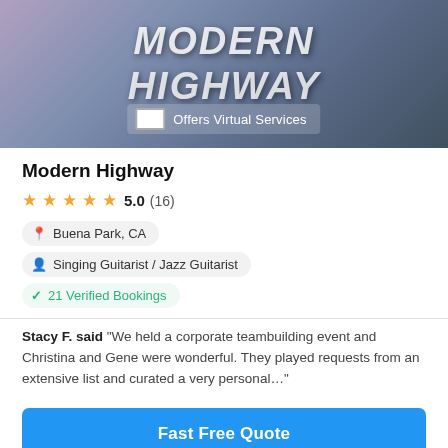[Figure (photo): Band photo with text overlay reading 'MODERN HIGHWAY' and a badge saying 'Offers Virtual Services']
Modern Highway
★★★★★ 5.0 (16)
Buena Park, CA
Singing Guitarist / Jazz Guitarist
✓ 21 Verified Bookings
Stacy F. said "We held a corporate teambuilding event and Christina and Gene were wonderful. They played requests from an extensive list and curated a very personal..."
Fast Free Quote
[Figure (photo): Preview of next card showing a partial image with text 'MYX COMMUNICATIONS']